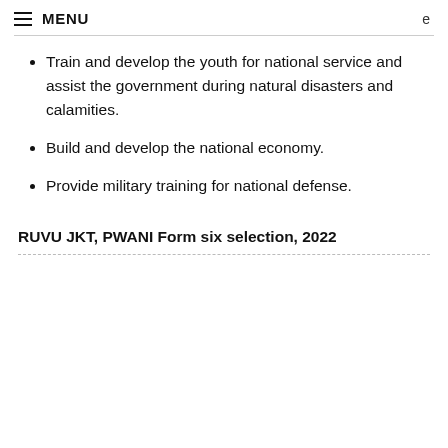≡ MENU  e
Train and develop the youth for national service and assist the government during natural disasters and calamities.
Build and develop the national economy.
Provide military training for national defense.
RUVU JKT, PWANI Form six selection, 2022